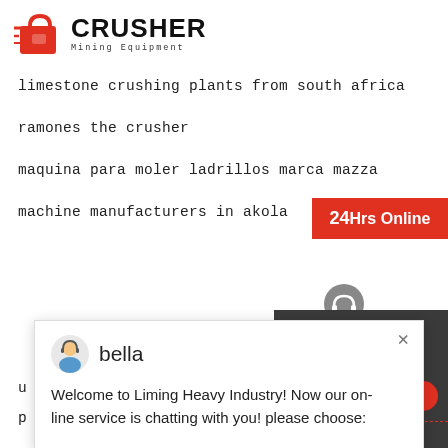[Figure (logo): Crusher Mining Equipment logo with red shopping bag icon and bold CRUSHER text]
limestone crushing plants from south africa
ramones the crusher
maquina para moler ladrillos marca mazza
machine manufacturers in akola
u
p
[Figure (screenshot): 24Hrs Online red button in top right]
[Figure (screenshot): Chat popup with bella avatar, close X button, and message: Welcome to Liming Heavy Industry! Now our on-line service is chatting with you! please choose:]
[Figure (screenshot): Right sidebar with Need & suggestions area, badge showing 1, Chat Now red button, Enquiry label, limingjlmofen@sina.com email]